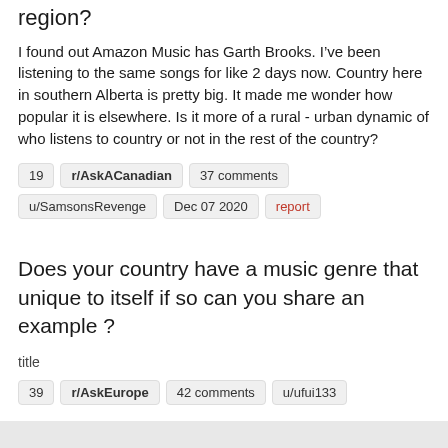region?
I found out Amazon Music has Garth Brooks. I’ve been listening to the same songs for like 2 days now. Country here in southern Alberta is pretty big. It made me wonder how popular it is elsewhere. Is it more of a rural - urban dynamic of who listens to country or not in the rest of the country?
19   r/AskACanadian   37 comments
u/SamsonsRevenge   Dec 07 2020   report
Does your country have a music genre that unique to itself if so can you share an example ?
title
39   r/AskEurope   42 comments   u/ufui133